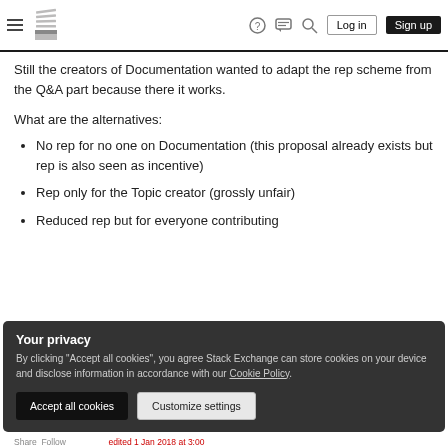Stack Exchange navigation bar with hamburger menu, logo, help, chat, search icons, Log in and Sign up buttons
Still the creators of Documentation wanted to adapt the rep scheme from the Q&A part because there it works.
What are the alternatives:
No rep for no one on Documentation (this proposal already exists but rep is also seen as incentive)
Rep only for the Topic creator (grossly unfair)
Reduced rep but for everyone contributing
Your privacy
By clicking "Accept all cookies", you agree Stack Exchange can store cookies on your device and disclose information in accordance with our Cookie Policy.
Accept all cookies   Customize settings
Share  Follow                edited 1 Jan 2018 at 3:00